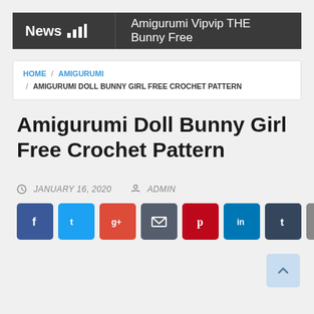News | Amigurumi Vipvip THE Bunny Free
HOME / AMIGURUMI / AMIGURUMI DOLL BUNNY GIRL FREE CROCHET PATTERN
Amigurumi Doll Bunny Girl Free Crochet Pattern
JANUARY 16, 2020   ADMIN
[Figure (other): Social share buttons: Facebook, Twitter, Google+, Email, Pinterest, LinkedIn, Tumblr, Print]